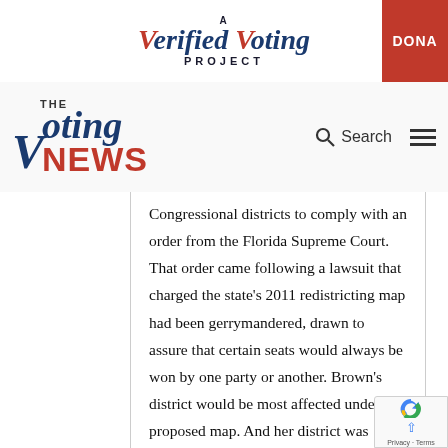[Figure (logo): A Verified Voting Project logo with red and blue serif italic text, and a red DONATE button on the right]
[Figure (logo): The Voting NEWS logo with blue italic serif text for 'Voting' and red bold sans-serif for 'NEWS', with Search icon and hamburger menu on the right]
Congressional districts to comply with an order from the Florida Supreme Court. That order came following a lawsuit that charged the state's 2011 redistricting map had been gerrymandered, drawn to assure that certain seats would always be won by one party or another. Brown's district would be most affected under the proposed map. And her district was